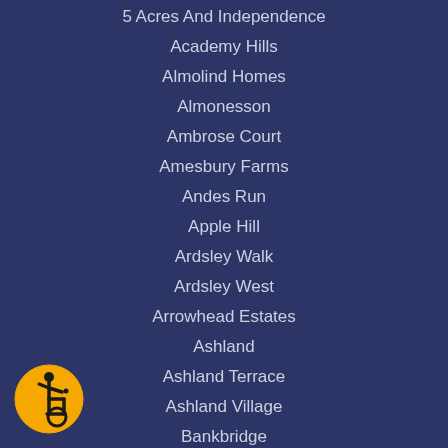5 Acres And Independence
Academy Hills
Almolind Homes
Almonesson
Ambrose Court
Amesbury Farms
Andes Run
Apple Hill
Ardsley Walk
Ardsley West
Arrowhead Estates
Ashland
Ashland Terrace
Ashland Village
Bankbridge
Barclay
Barclay Towers
[Figure (illustration): Accessibility wheelchair icon — yellow circle with black wheelchair symbol]